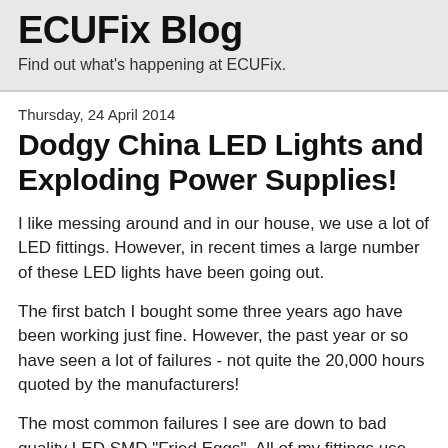ECUFix Blog
Find out what's happening at ECUFix.
Thursday, 24 April 2014
Dodgy China LED Lights and Exploding Power Supplies!
I like messing around and in our house, we use a lot of LED fittings. However, in recent times a large number of these LED lights have been going out.
The first batch I bought some three years ago have been working just fine. However, the past year or so have seen a lot of failures - not quite the 20,000 hours quoted by the manufacturers!
The most common failures I see are down to bad quality LED SMD "Fried Eggs". All of my fittings use 3W LEDs with 3, 4 or 7 LEDs mounted on a PCB in series depending on the desired power. The problem with failures like these are if